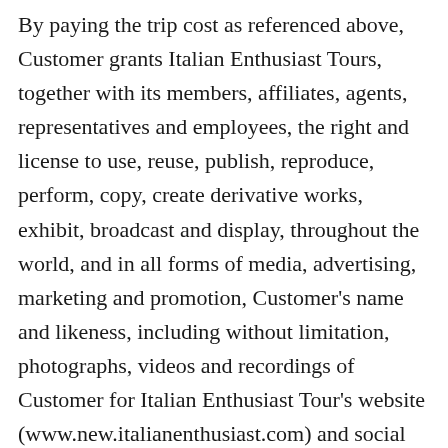By paying the trip cost as referenced above, Customer grants Italian Enthusiast Tours, together with its members, affiliates, agents, representatives and employees, the right and license to use, reuse, publish, reproduce, perform, copy, create derivative works, exhibit, broadcast and display, throughout the world, and in all forms of media, advertising, marketing and promotion, Customer's name and likeness, including without limitation, photographs, videos and recordings of Customer for Italian Enthusiast Tour's website (www.new.italianenthusiast.com) and social media, including Twitter, Instagram, Snapchat, Facebook, YouTube, Google+, etc.